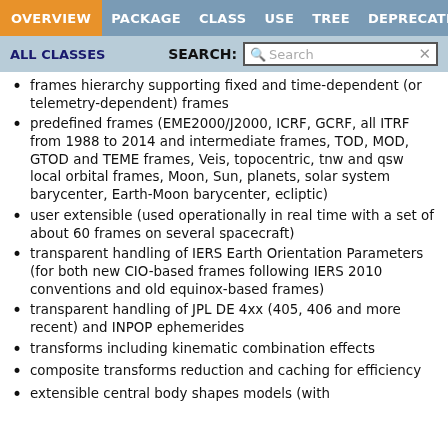OVERVIEW  PACKAGE  CLASS  USE  TREE  DEPRECATED
ALL CLASSES   SEARCH: [Search]
frames hierarchy supporting fixed and time-dependent (or telemetry-dependent) frames
predefined frames (EME2000/J2000, ICRF, GCRF, all ITRF from 1988 to 2014 and intermediate frames, TOD, MOD, GTOD and TEME frames, Veis, topocentric, tnw and qsw local orbital frames, Moon, Sun, planets, solar system barycenter, Earth-Moon barycenter, ecliptic)
user extensible (used operationally in real time with a set of about 60 frames on several spacecraft)
transparent handling of IERS Earth Orientation Parameters (for both new CIO-based frames following IERS 2010 conventions and old equinox-based frames)
transparent handling of JPL DE 4xx (405, 406 and more recent) and INPOP ephemerides
transforms including kinematic combination effects
composite transforms reduction and caching for efficiency
extensible central body shapes models (with